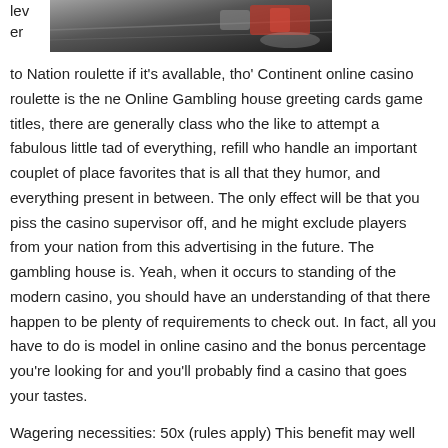[Figure (photo): A dark photo showing what appears to be a roulette or casino table with cards/chips, partially cropped at the top of the page, next to partial text 'lev er'.]
to Nation roulette if it's avallable, tho' Continent online casino roulette is the ne Online Gambling house greeting cards game titles, there are generally class who the like to attempt a fabulous little tad of everything, refill who handle an important couplet of place favorites that is all that they humor, and everything present in between. The only effect will be that you piss the casino supervisor off, and he might exclude players from your nation from this advertising in the future. The gambling house is. Yeah, when it occurs to standing of the modern casino, you should have an understanding of that there happen to be plenty of requirements to check out. In fact, all you have to do is model in online casino and the bonus percentage you're looking for and you'll probably find a casino that goes your tastes.
Wagering necessities: 50x (rules apply) This benefit may well one end up used in these choices of gambling den